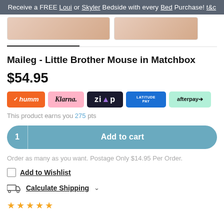Receive a FREE Loui or Skyler Bedside with every Bed Purchase! t&c
[Figure (photo): Two product images shown as thumbnails]
Maileg - Little Brother Mouse in Matchbox
$54.95
[Figure (other): Payment method logos: humm, Klarna, Zip, Latitude Pay, afterpay]
This product earns you 275 pts
1  Add to cart
Order as many as you want. Postage Only $14.95 Per Order.
Add to Wishlist
Calculate Shipping
[Figure (other): Five yellow/gold stars rating]